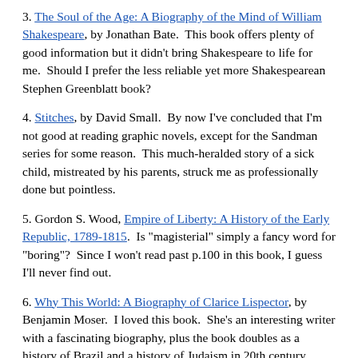3. The Soul of the Age: A Biography of the Mind of William Shakespeare, by Jonathan Bate.  This book offers plenty of good information but it didn't bring Shakespeare to life for me.  Should I prefer the less reliable yet more Shakespearean Stephen Greenblatt book?
4. Stitches, by David Small.  By now I've concluded that I'm not good at reading graphic novels, except for the Sandman series for some reason.  This much-heralded story of a sick child, mistreated by his parents, struck me as professionally done but pointless.
5. Gordon S. Wood, Empire of Liberty: A History of the Early Republic, 1789-1815.  Is "magisterial" simply a fancy word for "boring"?  Since I won't read past p.100 in this book, I guess I'll never find out.
6. Why This World: A Biography of Clarice Lispector, by Benjamin Moser.  I loved this book.  She's an interesting writer with a fascinating biography, plus the book doubles as a history of Brazil and a history of Judaism in 20th century South America.  This is